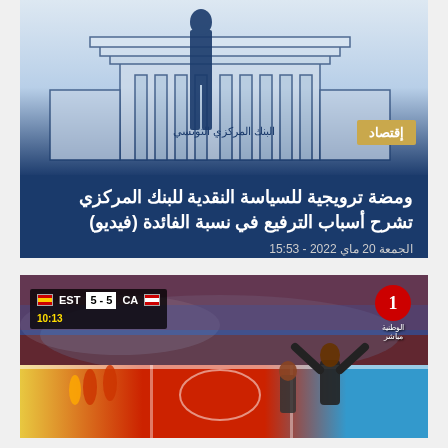[Figure (illustration): Illustration of the Tunisian Central Bank building with a female figure silhouette in blue, on a light blue-white background. Arabic text reads البنك المركزي التونسي.]
إقتصاد
ومضة ترويجية للسياسة النقدية للبنك المركزي تشرح أسباب الترفيع في نسبة الفائدة (فيديو)
الجمعة 20 ماي 2022 - 15:53
[Figure (photo): Sports venue photo showing a handball match. Scoreboard shows EST 5-5 CA, time 10:13. Channel logo for الوطنية 1 مباشر (Wataniya 1 Live) visible top right. Two men celebrating on the court sideline with crowd in background.]